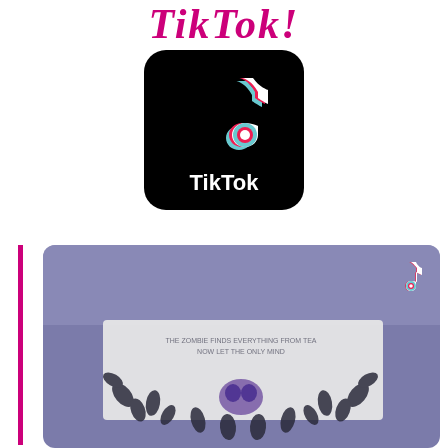TikTok!
[Figure (logo): TikTok app logo — black rounded square with TikTok musical note icon in white, cyan, and red/pink colors, and 'TikTok' text in white below the icon]
[Figure (photo): TikTok video thumbnail showing a decorative bag or packaging with floral/leaf pattern in dark ink and a purple owl design, with TikTok watermark icon in top right corner, blueish-purple tinted photo]